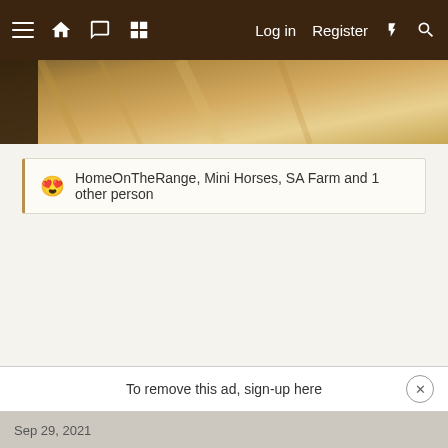Log in  Register
[Figure (photo): Partial photo showing a wooden surface with warm tan/golden tones, cropped at the top of the content area]
😍 HomeOnTheRange, Mini Horses, SA Farm and 1 other person
To remove this ad, sign-up here
Sep 29, 2021